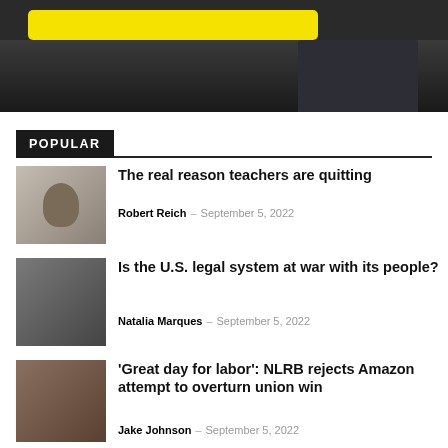[Figure (photo): Top banner image showing a person at a desk with a yellow highlight element, dark background]
POPULAR
[Figure (photo): Thumbnail of a man with his head in his hand, in front of a chalkboard]
The real reason teachers are quitting
Robert Reich – September 5, 2022
[Figure (photo): Black and white thumbnail of police arrest scene on a street]
Is the U.S. legal system at war with its people?
Natalia Marques – September 5, 2022
[Figure (photo): Thumbnail of protesters holding signs]
'Great day for labor': NLRB rejects Amazon attempt to overturn union win
Jake Johnson – September 5, 2022